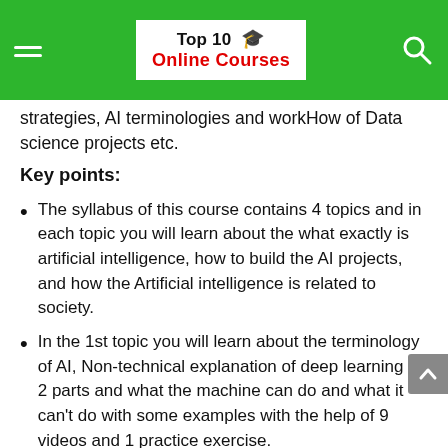Top 10 🎓 Online Courses
strategies, AI terminologies and workHow of Data science projects etc.
Key points:
The syllabus of this course contains 4 topics and in each topic you will learn about the what exactly is artificial intelligence, how to build the AI projects, and how the Artificial intelligence is related to society.
In the 1st topic you will learn about the terminology of AI, Non-technical explanation of deep learning in 2 parts and what the machine can do and what it can't do with some examples with the help of 9 videos and 1 practice exercise.